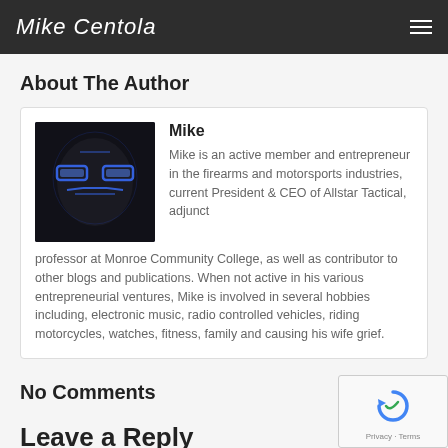Mike Centola
About The Author
[Figure (photo): Author photo: person wearing a glowing blue LED mask against a dark background]
Mike
Mike is an active member and entrepreneur in the firearms and motorsports industries, current President & CEO of Allstar Tactical, adjunct professor at Monroe Community College, as well as contributor to other blogs and publications. When not active in his various entrepreneurial ventures, Mike is involved in several hobbies including, electronic music, radio controlled vehicles, riding motorcycles, watches, fitness, family and causing his wife grief.
No Comments
Leave a Reply